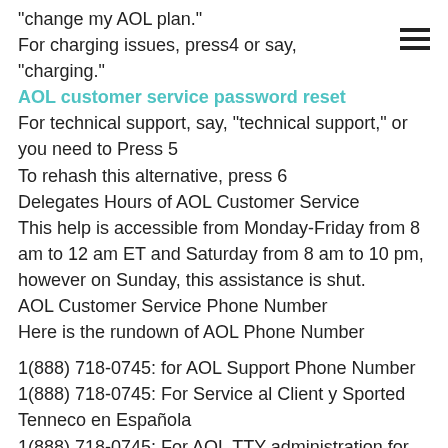"change my AOL plan."
For charging issues, press4 or say, "charging."
AOL customer service password reset
For technical support, say, "technical support," or you need to Press 5
To rehash this alternative, press 6
Delegates Hours of AOL Customer Service
This help is accessible from Monday-Friday from 8 am to 12 am ET and Saturday from 8 am to 10 pm, however on Sunday, this assistance is shut.
AOL Customer Service Phone Number
Here is the rundown of AOL Phone Number
1(888) 718-0745: for AOL Support Phone Number
1(888) 718-0745: For Service al Client y Sported Tenneco en Española
1(888) 718-0745: For AOL TTY administration for the hard of hearing or nearly deaf
1(888) 718-0745: for Netscape ISP Account and Billing Support